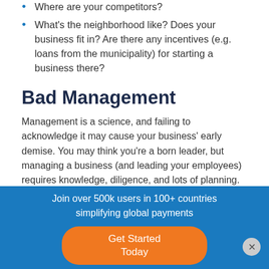Where are your competitors?
What's the neighborhood like? Does your business fit in? Are there any incentives (e.g. loans from the municipality) for starting a business there?
Bad Management
Management is a science, and failing to acknowledge it may cause your business' early demise. You may think you're a born leader, but managing a business (and leading your employees) requires knowledge, diligence, and lots of planning.
How to Avoid It
Join over 500k users in 100+ countries simplifying global payments
Get Started Today